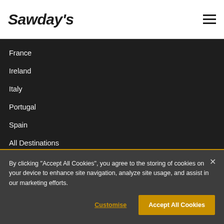Sawday's
France
Ireland
Italy
Portugal
Spain
All Destinations
EXPLORE SAWDAY'S
By clicking “Accept All Cookies”, you agree to the storing of cookies on your device to enhance site navigation, analyze site usage, and assist in our marketing efforts.
Customise
Accept All Cookies